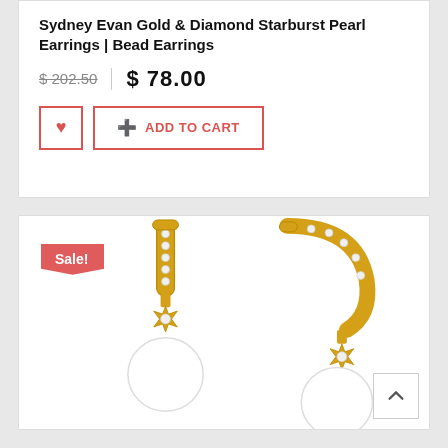Sydney Evan Gold & Diamond Starburst Pearl Earrings | Bead Earrings
$ 202.50  |  $ 78.00
[Figure (screenshot): Two gold and diamond starburst pearl earrings with lever-back closures set with small diamonds, featuring a star motif and round white pearl drops. Red 'Sale!' badge in upper left corner. Back-to-top arrow button in lower right.]